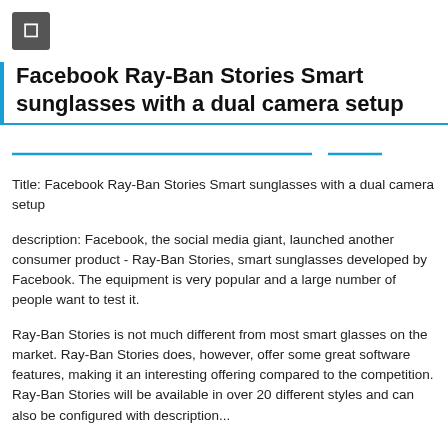[Figure (other): Small gray icon box with a bookmark/tag symbol]
Facebook Ray-Ban Stories Smart sunglasses with a dual camera setup
Title: Facebook Ray-Ban Stories Smart sunglasses with a dual camera setup
description: Facebook, the social media giant, launched another consumer product - Ray-Ban Stories, smart sunglasses developed by Facebook. The equipment is very popular and a large number of people want to test it.
Ray-Ban Stories is not much different from most smart glasses on the market. Ray-Ban Stories does, however, offer some great software features, making it an interesting offering compared to the competition. Ray-Ban Stories will be available in over 20 different styles and can also be configured with description...